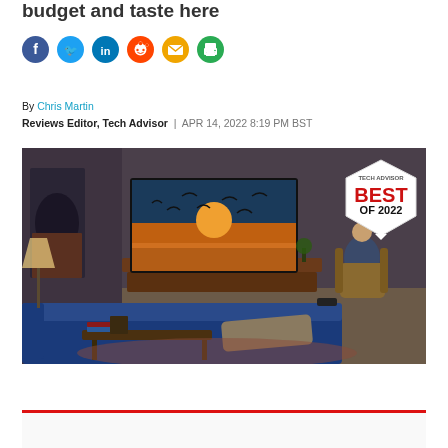budget and taste here
[Figure (other): Social share icons: Facebook, Twitter, LinkedIn, Reddit, Email, Print]
By Chris Martin
Reviews Editor, Tech Advisor  |  APR 14, 2022 8:19 PM BST
[Figure (photo): Living room scene with a large Samsung TV mounted on the wall showing a sunset with birds, a man sitting in a chair watching it, blue sofa in foreground. Tech Advisor Best of 2022 badge in upper right corner.]
[Figure (other): Bottom red-bordered content box, partially visible]